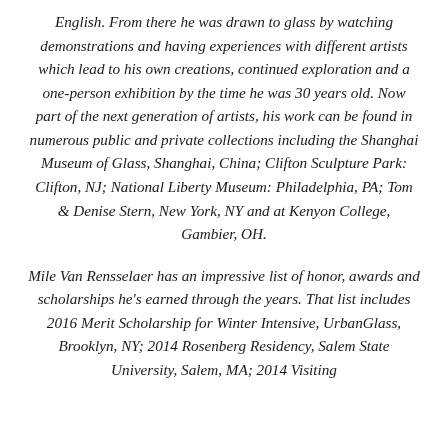English. From there he was drawn to glass by watching demonstrations and having experiences with different artists which lead to his own creations, continued exploration and a one-person exhibition by the time he was 30 years old. Now part of the next generation of artists, his work can be found in numerous public and private collections including the Shanghai Museum of Glass, Shanghai, China; Clifton Sculpture Park: Clifton, NJ; National Liberty Museum: Philadelphia, PA; Tom & Denise Stern, New York, NY and at Kenyon College, Gambier, OH.
Mile Van Rensselaer has an impressive list of honor, awards and scholarships he's earned through the years. That list includes 2016 Merit Scholarship for Winter Intensive, UrbanGlass, Brooklyn, NY; 2014 Rosenberg Residency, Salem State University, Salem, MA; 2014 Visiting